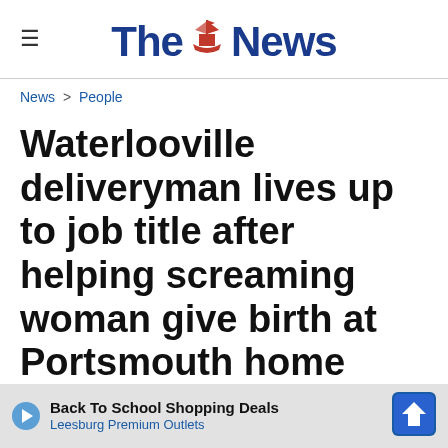The News
News > People
Waterlooville deliveryman lives up to job title after helping screaming woman give birth at Portsmouth home
A DELIVERYMAN fully lived up to his job title when he was suddenly thrust into helping a screaming woman give birth at a Portsmouth home, it has been found.
[Figure (other): Advertisement banner: Back To School Shopping Deals - Leesburg Premium Outlets]